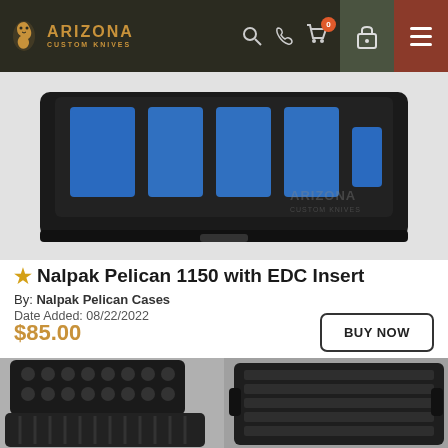Arizona Custom Knives - Navigation bar with logo, search, phone, cart (0), lock, menu
[Figure (photo): Nalpak Pelican 1150 hard case open showing blue foam EDC insert with slots, viewed from above at slight angle. Arizona Custom Knives watermark visible lower right.]
★ Nalpak Pelican 1150 with EDC Insert
By: Nalpak Pelican Cases
Date Added: 08/22/2022
$85.00
BUY NOW
[Figure (photo): Left: close-up of open black pelican case showing egg-crate foam lid interior and ribbed lower body. Right: close-up of black ribbed EDC foam insert with custom-cut slots.]